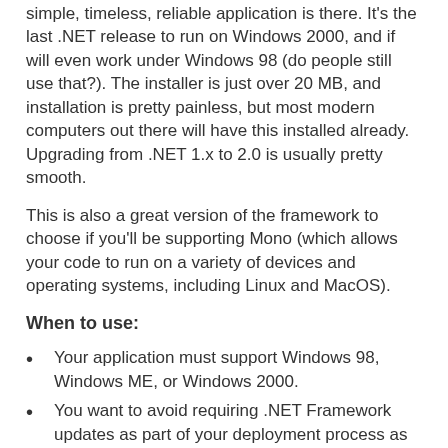simple, timeless, reliable application is there. It's the last .NET release to run on Windows 2000, and if will even work under Windows 98 (do people still use that?). The installer is just over 20 MB, and installation is pretty painless, but most modern computers out there will have this installed already. Upgrading from .NET 1.x to 2.0 is usually pretty smooth.
This is also a great version of the framework to choose if you'll be supporting Mono (which allows your code to run on a variety of devices and operating systems, including Linux and MacOS).
When to use:
Your application must support Windows 98, Windows ME, or Windows 2000.
You want to avoid requiring .NET Framework updates as part of your deployment process as much as reasonably possible.
Maintaining applications built on .NET 2.0 or earlier.
Your application must run under Mono.